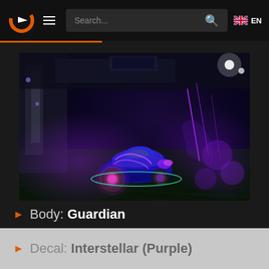Search... EN
[Figure (screenshot): Rocket League gameplay screenshot showing a blue/purple car with Interstellar decal on a dark arena field with purple neon lighting effects. Watermark reads: RL Garage Car Designer rlgarage.design]
> Body: Guardian
> Decal: Interstellar (Purple)